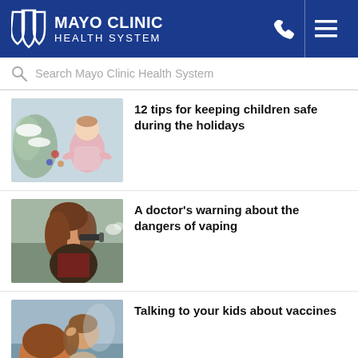[Figure (logo): Mayo Clinic Health System logo with shield icon, white text on blue background, with phone and menu icons]
Search Mayo Clinic Health System
[Figure (photo): Baby/toddler sitting near a Christmas tree with ornaments]
12 tips for keeping children safe during the holidays
[Figure (photo): Young woman vaping, holding a vaping device to her mouth]
A doctor's warning about the dangers of vaping
[Figure (photo): Two people facing each other, one touching the other's head/hair]
Talking to your kids about vaccines
Recent Posts